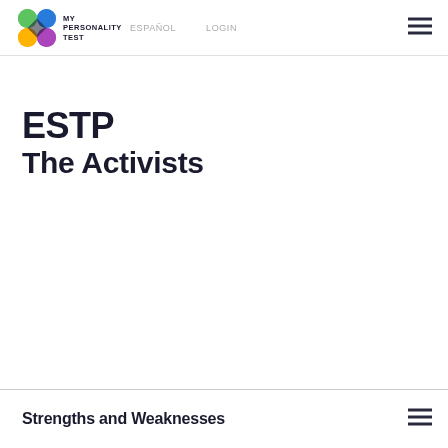MY PERSONALITY TEST | ESPAÑOL | LOGIN
ESTP
The Activists
Strengths and Weaknesses